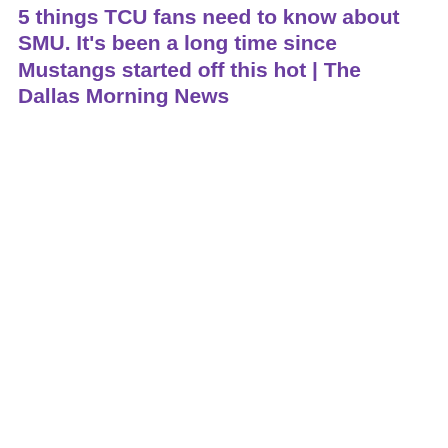5 things TCU fans need to know about SMU. It's been a long time since Mustangs started off this hot | The Dallas Morning News